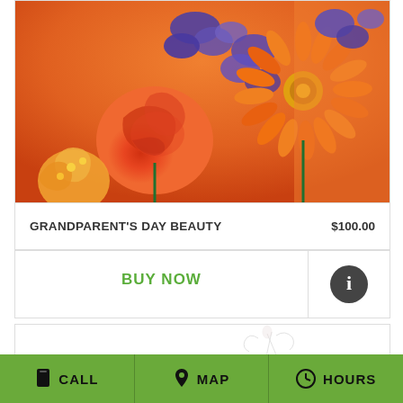[Figure (photo): Close-up photo of an orange and purple flower bouquet featuring roses, gerbera daisies, alstroemeria, and blue/purple flowers on an orange background]
GRANDPARENT'S DAY BEAUTY    $100.00
BUY NOW
[Figure (other): Information button (dark circle with white 'i' icon)]
[Figure (photo): Second product card placeholder with partial floral illustration visible at bottom]
CALL  MAP  HOURS